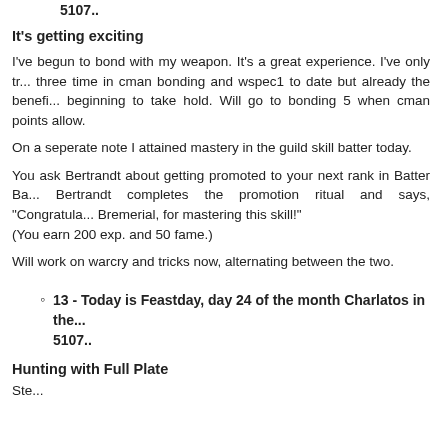5107..
It's getting exciting
I've begun to bond with my weapon. It's a great experience. I've only tr... three time in cman bonding and wspec1 to date but already the benefi... beginning to take hold. Will go to bonding 5 when cman points allow.
On a seperate note I attained mastery in the guild skill batter today.
You ask Bertrandt about getting promoted to your next rank in Batter Ba... Bertrandt completes the promotion ritual and says, "Congratula... Bremerial, for mastering this skill!"
(You earn 200 exp. and 50 fame.)
Will work on warcry and tricks now, alternating between the two.
13 - Today is Feastday, day 24 of the month Charlatos in the... 5107..
Hunting with Full Plate
Ste...